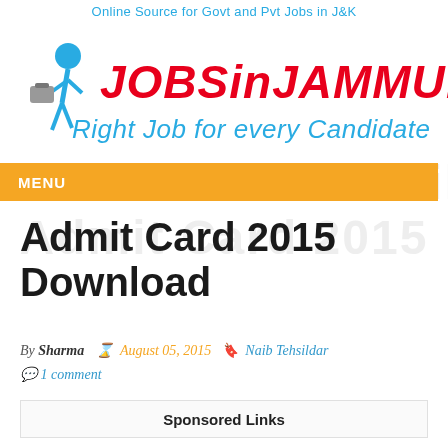Online Source for Govt and Pvt Jobs in J&K
[Figure (logo): JOBSinJAMMU.COM logo with walking figure icon, tagline: Right Job for every Candidate]
MENU
JKSSB Naib Tehsildar Admit Card 2015 Download
By Sharma  August 05, 2015  Naib Tehsildar  1 comment
Sponsored Links